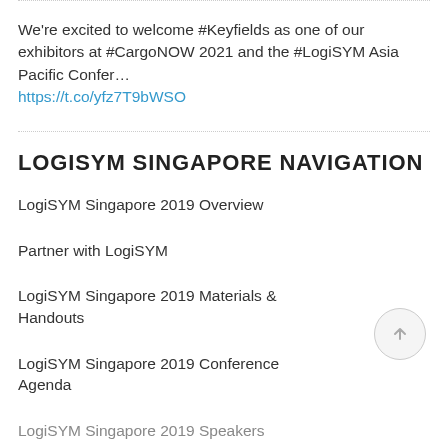We're excited to welcome #Keyfields as one of our exhibitors at #CargoNOW 2021 and the #LogiSYM Asia Pacific Confer… https://t.co/yfz7T9bWSO
LOGISYM SINGAPORE NAVIGATION
LogiSYM Singapore 2019 Overview
Partner with LogiSYM
LogiSYM Singapore 2019 Materials & Handouts
LogiSYM Singapore 2019 Conference Agenda
LogiSYM Singapore 2019 Speakers